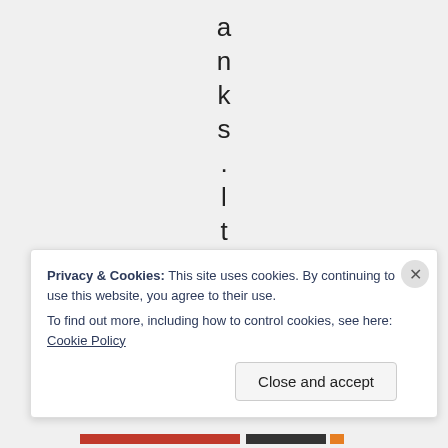a n k s . l t i s l i
Privacy & Cookies: This site uses cookies. By continuing to use this website, you agree to their use.
To find out more, including how to control cookies, see here: Cookie Policy

Close and accept